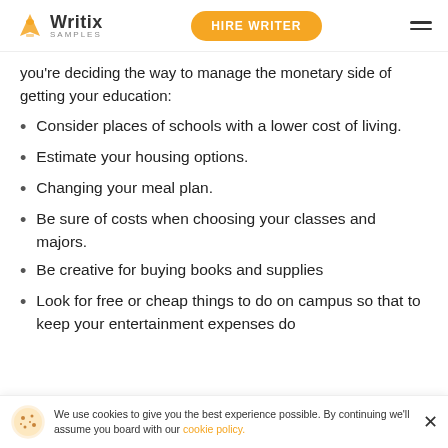Writix SAMPLES | HIRE WRITER
you're deciding the way to manage the monetary side of getting your education:
Consider places of schools with a lower cost of living.
Estimate your housing options.
Changing your meal plan.
Be sure of costs when choosing your classes and majors.
Be creative for buying books and supplies
Look for free or cheap things to do on campus so that to keep your entertainment expenses do
We use cookies to give you the best experience possible. By continuing we'll assume you board with our cookie policy.